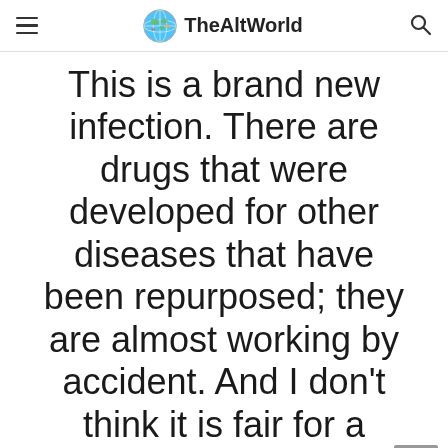TheAltWorld
This is a brand new infection. There are drugs that were developed for other diseases that have been repurposed; they are almost working by accident. And I don't think it is fair for a company to financially